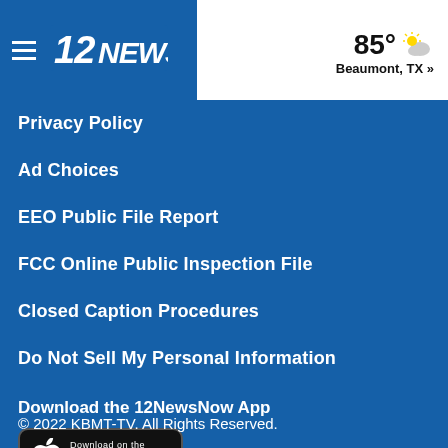12NEWS | 85° Beaumont, TX »
Privacy Policy
Ad Choices
EEO Public File Report
FCC Online Public Inspection File
Closed Caption Procedures
Do Not Sell My Personal Information
Download the 12NewsNow App
[Figure (logo): Apple App Store download button with Apple logo, 'Download on the App Store' text on black rounded rectangle]
© 2022 KBMT-TV. All Rights Reserved.